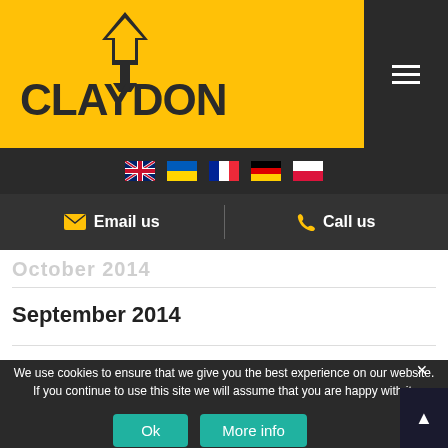[Figure (logo): Claydon logo with yellow background - black text CLAYDON with arrow/spade icon above]
[Figure (infographic): Navigation bar with flag icons: UK, Ukraine, France, Germany, Poland]
Email us
Call us
September 2014
We use cookies to ensure that we give you the best experience on our website. If you continue to use this site we will assume that you are happy with it.